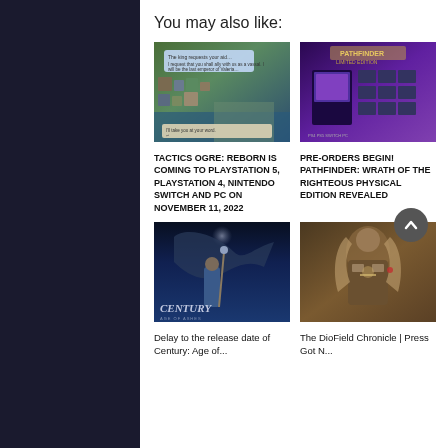You may also like:
[Figure (photo): Screenshot of Tactics Ogre: Reborn gameplay showing isometric tactical RPG battle scene with dialogue]
[Figure (photo): Pathfinder: Wrath of the Righteous physical/limited edition box and contents on purple background]
TACTICS OGRE: REBORN IS COMING TO PLAYSTATION 5, PLAYSTATION 4, NINTENDO SWITCH AND PC ON NOVEMBER 11, 2022
PRE-ORDERS BEGIN! PATHFINDER: WRATH OF THE RIGHTEOUS PHYSICAL EDITION REVEALED
[Figure (photo): Century: Age of Ashes game promotional image showing warrior with dragon in dark blue atmosphere with Century logo]
[Figure (photo): The DioField Chronicle promotional artwork showing fantasy character in detailed armor]
Delay to the release date of Century: Age of...
The DioField Chronicle | Press Got N...